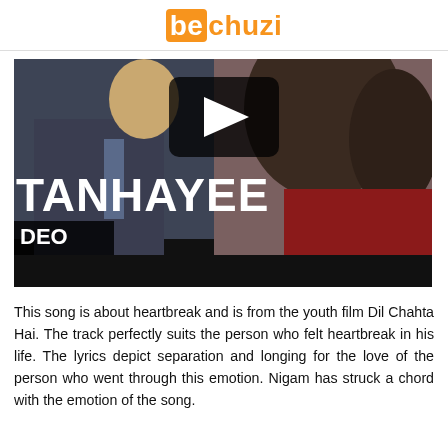bechuzi
[Figure (screenshot): Video thumbnail for a song called TANHAYEE with a play button overlay, showing a man in a suit and a woman with curly hair, with text 'TANHAYEE' and 'DEO' overlaid on a dark background.]
This song is about heartbreak and is from the youth film Dil Chahta Hai. The track perfectly suits the person who felt heartbreak in his life. The lyrics depict separation and longing for the love of the person who went through this emotion. Nigam has struck a chord with the emotion of the song.